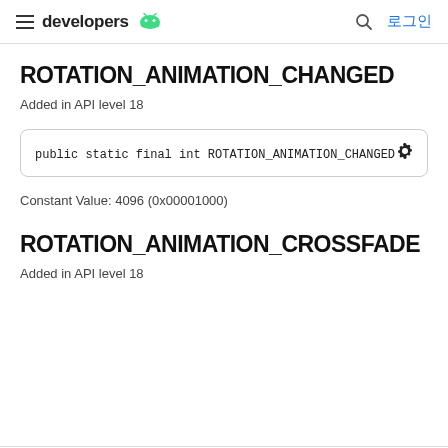developers | 로그인
ROTATION_ANIMATION_CHANGED
Added in API level 18
Constant Value: 4096 (0x00001000)
ROTATION_ANIMATION_CROSSFADE
Added in API level 18